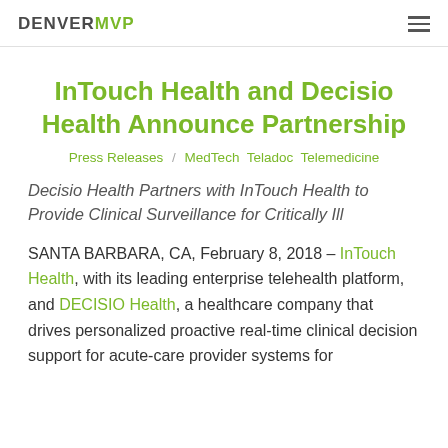DENVERMVP
InTouch Health and Decisio Health Announce Partnership
Press Releases / MedTech  Teladoc  Telemedicine
Decisio Health Partners with InTouch Health to Provide Clinical Surveillance for Critically Ill
SANTA BARBARA, CA, February 8, 2018 – InTouch Health, with its leading enterprise telehealth platform, and DECISIO Health, a healthcare company that drives personalized proactive real-time clinical decision support for acute-care provider systems for